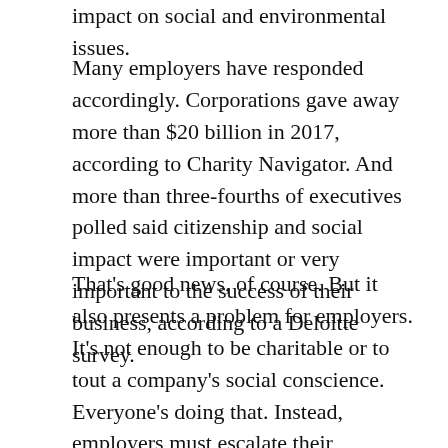impact on social and environmental issues.
Many employers have responded accordingly. Corporations gave away more than $20 billion in 2017, according to Charity Navigator. And more than three-fourths of executives polled said citizenship and social impact were important or very important to the success of their business, according to a Deloitte survey.
That's good news, of course. But it also presents a problem for employers. It's not enough to be charitable or to tout a company's social conscience. Everyone's doing that. Instead, employers must escalate their corporate social responsibility efforts by getting their employees in the care of the